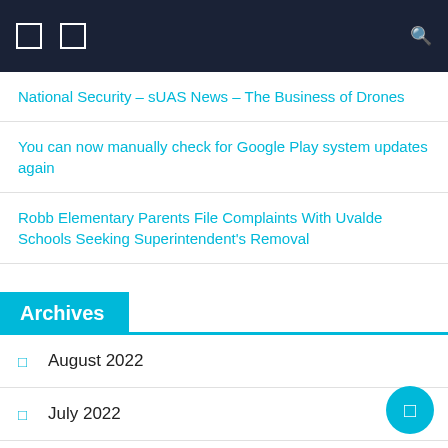Navigation bar with icons and search
National Security – sUAS News – The Business of Drones
You can now manually check for Google Play system updates again
Robb Elementary Parents File Complaints With Uvalde Schools Seeking Superintendent's Removal
Archives
August 2022
July 2022
June 2022
May 2022